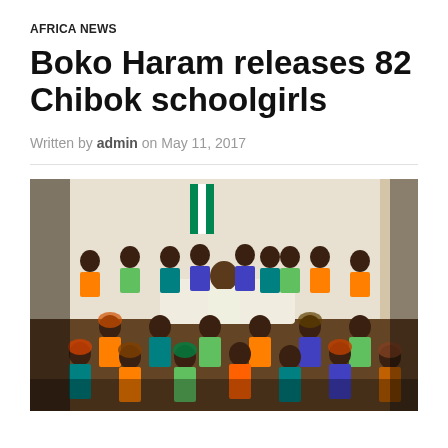AFRICA NEWS
Boko Haram releases 82 Chibok schoolgirls
Written by admin on May 11, 2017
[Figure (photo): Group photo of the released Chibok schoolgirls seated and standing inside a room with Nigerian officials, wearing colorful clothing in orange, green, teal, and blue. A man in white attire is seated in the center.]